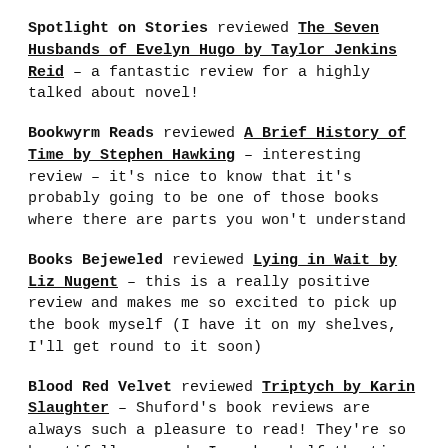Spotlight on Stories reviewed The Seven Husbands of Evelyn Hugo by Taylor Jenkins Reid – a fantastic review for a highly talked about novel!
Bookwyrm Reads reviewed A Brief History of Time by Stephen Hawking – interesting review – it's nice to know that it's probably going to be one of those books where there are parts you won't understand
Books Bejeweled reviewed Lying in Wait by Liz Nugent – this is a really positive review and makes me so excited to pick up the book myself (I have it on my shelves, I'll get round to it soon)
Blood Red Velvet reviewed Triptych by Karin Slaughter – Shuford's book reviews are always such a pleasure to read! They're so beautifully weaved, I reckon half the time they're more enjoyable than the